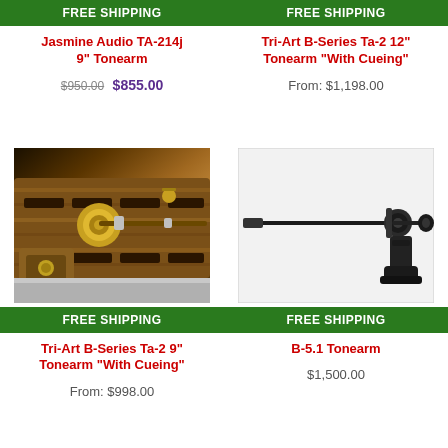FREE SHIPPING
Jasmine Audio TA-214j 9" Tonearm
$950.00 $855.00
FREE SHIPPING
Tri-Art B-Series Ta-2 12" Tonearm "With Cueing"
From: $1,198.00
[Figure (photo): Close-up photo of Tri-Art B-Series Ta-2 9-inch wooden tonearm with brass components and laminated wood construction]
FREE SHIPPING
Tri-Art B-Series Ta-2 9" Tonearm "With Cueing"
From: $998.00
[Figure (photo): Photo of B-5.1 black tonearm on white background showing arm wand and headshell mount]
FREE SHIPPING
B-5.1 Tonearm
$1,500.00